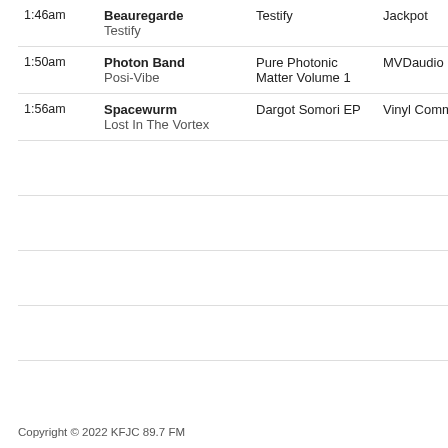| Time | Artist / Song | Album | Label |
| --- | --- | --- | --- |
| 1:46am | Beauregarde
Testify | Testify | Jackpot |
| 1:50am | Photon Band
Posi-Vibe | Pure Photonic Matter Volume 1 | MVDaudio |
| 1:56am | Spacewurm
Lost In The Vortex | Dargot Somori EP | Vinyl Communications |
|  |  |  |  |
|  |  |  |  |
|  |  |  |  |
|  |  |  |  |
Copyright © 2022 KFJC 89.7 FM